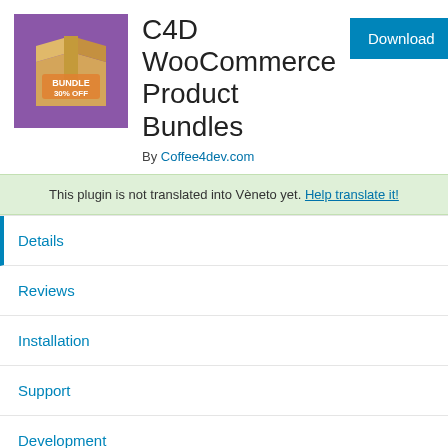[Figure (illustration): Plugin icon: cardboard box with 'BUNDLE 30% OFF' label on a purple background]
C4D WooCommerce Product Bundles
By Coffee4dev.com
Download
This plugin is not translated into Vèneto yet. Help translate it!
Details
Reviews
Installation
Support
Development
Description